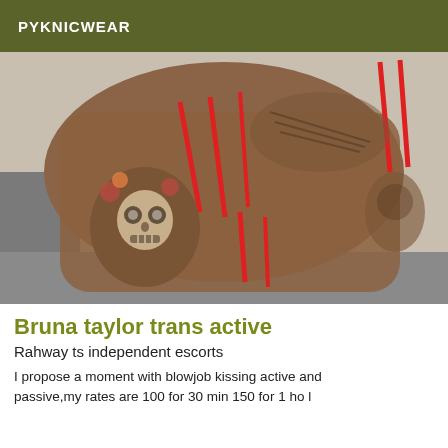PYKNICWEAR
[Figure (photo): Person with tattoos wearing red lingerie, kneeling on a couch, showing tattoos on thigh and arm including a skull/sugar skull design on the thigh and wing/figure designs on the back and arm.]
Bruna taylor trans active
Rahway ts independent escorts
I propose a moment with blowjob kissing active and passive,my rates are 100 for 30 min 150 for 1 ho I